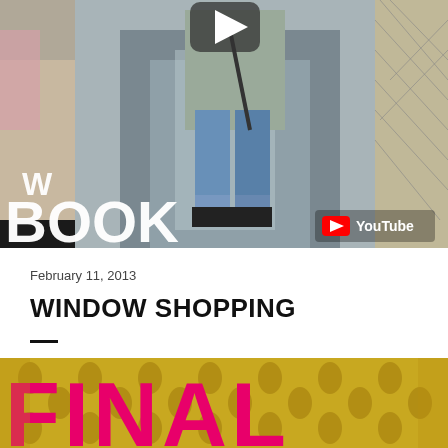[Figure (screenshot): YouTube video thumbnail showing a person in jeans and a grey jacket standing outdoors. Text overlay reads 'W BOOK' in large white letters. YouTube logo visible in bottom right corner. Play button icon at top center.]
February 11, 2013
WINDOW SHOPPING
[Figure (photo): Bottom portion of a photo showing a store window or display with gold patterned wallpaper/background and large pink/magenta letters spelling 'FINAL' (partially visible).]